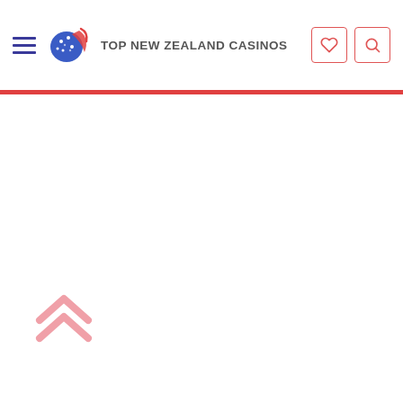TOP NEW ZEALAND CASINOS
[Figure (illustration): Scroll-to-top arrow icon (double chevron up) in light pink/salmon color, positioned bottom-left of page]